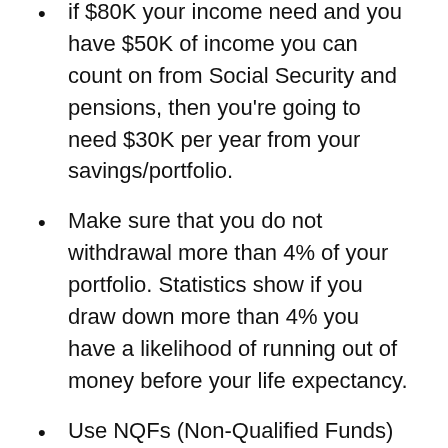if $80K your income need and you have $50K of income you can count on from Social Security and pensions, then you're going to need $30K per year from your savings/portfolio.
Make sure that you do not withdrawal more than 4% of your portfolio. Statistics show if you draw down more than 4% you have a likelihood of running out of money before your life expectancy.
Use NQFs (Non-Qualified Funds) for income first and allow your QRPs (Qualified Retirement Plans) to grow tax deferred.
Meet with a qualified CPA, who is